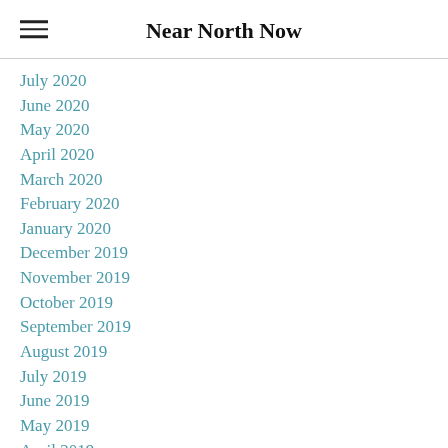Near North Now
July 2020
June 2020
May 2020
April 2020
March 2020
February 2020
January 2020
December 2019
November 2019
October 2019
September 2019
August 2019
July 2019
June 2019
May 2019
April 2019
March 2019
February 2019